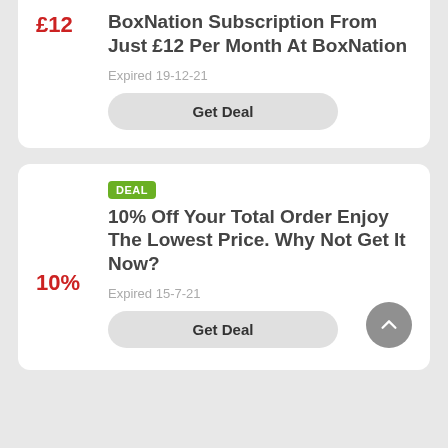£12
BoxNation Subscription From Just £12 Per Month At BoxNation
Expired 19-12-21
Get Deal
DEAL
10%
10% Off Your Total Order Enjoy The Lowest Price. Why Not Get It Now?
Expired 15-7-21
Get Deal